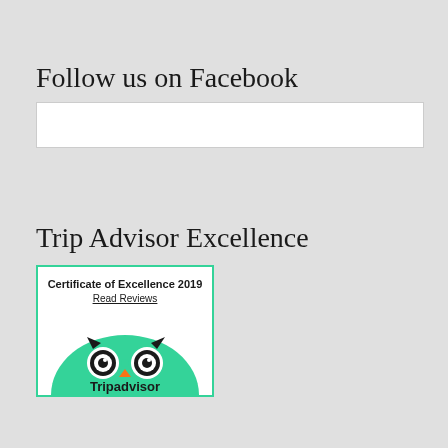Follow us on Facebook
[Figure (other): White rectangular Facebook embed/widget box]
Trip Advisor Excellence
[Figure (other): TripAdvisor Certificate of Excellence 2019 widget with green semicircle background and Tripadvisor owl logo. Text: Certificate of Excellence 2019, Read Reviews, Tripadvisor]